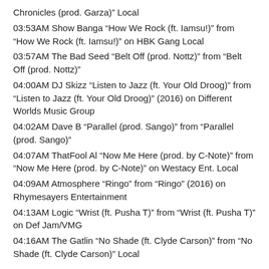Chronicles (prod. Garza)" Local
03:53AM Show Banga "How We Rock (ft. Iamsu!)" from "How We Rock (ft. Iamsu!)" on HBK Gang Local
03:57AM The Bad Seed "Belt Off (prod. Nottz)" from "Belt Off (prod. Nottz)"
04:00AM DJ Skizz "Listen to Jazz (ft. Your Old Droog)" from "Listen to Jazz (ft. Your Old Droog)" (2016) on Different Worlds Music Group
04:02AM Dave B "Parallel (prod. Sango)" from "Parallel (prod. Sango)"
04:07AM ThatFool Al "Now Me Here (prod. by C-Note)" from "Now Me Here (prod. by C-Note)" on Westacy Ent. Local
04:09AM Atmosphere "Ringo" from "Ringo" (2016) on Rhymesayers Entertainment
04:13AM Logic "Wrist (ft. Pusha T)" from "Wrist (ft. Pusha T)" on Def Jam/VMG
04:16AM The Gatlin "No Shade (ft. Clyde Carson)" from "No Shade (ft. Clyde Carson)" Local